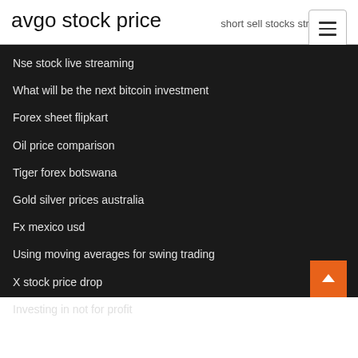avgo stock price
short sell stocks strategy
Nse stock live streaming
What will be the next bitcoin investment
Forex sheet flipkart
Oil price comparison
Tiger forex botswana
Gold silver prices australia
Fx mexico usd
Using moving averages for swing trading
X stock price drop
Investing in not for profit